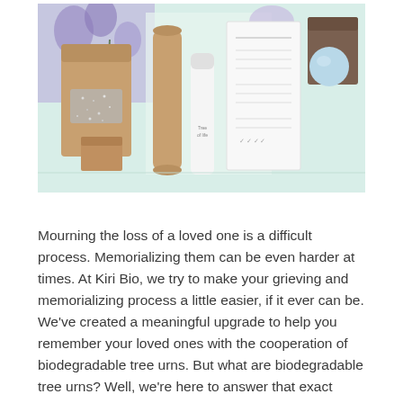[Figure (photo): Product photo showing kraft paper packaging — a stand-up pouch with a glitter window, two tubes, a pamphlet/brochure, and a box with a light blue sphere, arranged on a light mint-green surface with purple flowers in the background.]
Mourning the loss of a loved one is a difficult process. Memorializing them can be even harder at times. At Kiri Bio, we try to make your grieving and memorializing process a little easier, if it ever can be. We've created a meaningful upgrade to help you remember your loved ones with the cooperation of biodegradable tree urns. But what are biodegradable tree urns? Well, we're here to answer that exact question.